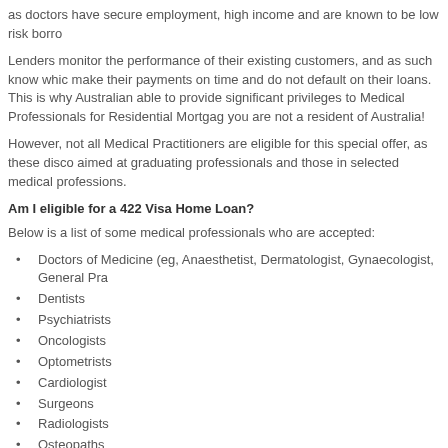as doctors have secure employment, high income and are known to be low risk borro
Lenders monitor the performance of their existing customers, and as such know whic make their payments on time and do not default on their loans. This is why Australian able to provide significant privileges to Medical Professionals for Residential Mortgag you are not a resident of Australia!
However, not all Medical Practitioners are eligible for this special offer, as these disco aimed at graduating professionals and those in selected medical professions.
Am I eligible for a 422 Visa Home Loan?
Below is a list of some medical professionals who are accepted:
Doctors of Medicine (eg, Anaesthetist, Dermatologist, Gynaecologist, General Pra
Dentists
Psychiatrists
Oncologists
Optometrists
Cardiologist
Surgeons
Radiologists
Osteopaths
Psychiatrists
Veterinarians
Physiotherapists
Radiographers (case by case)